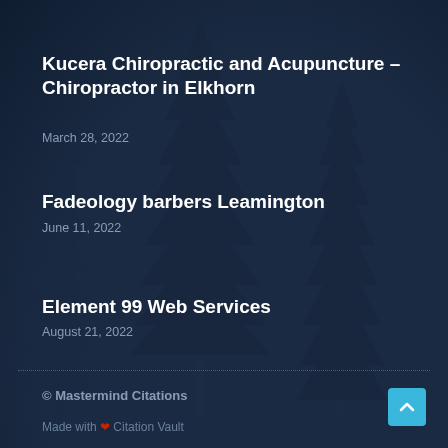Kucera Chiropractic and Acupuncture – Chiropractor in Elkhorn
March 28, 2022
Fadeology barbers Leamington
June 11, 2022
Element 99 Web Services
August 21, 2022
© Mastermind Citations
Made with ❤ Citation Vault